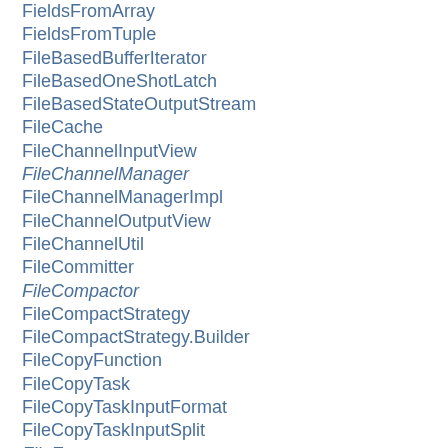FieldsFromArray
FieldsFromTuple
FileBasedBufferIterator
FileBasedOneShotLatch
FileBasedStateOutputStream
FileCache
FileChannelInputView
FileChannelManager (italic)
FileChannelManagerImpl
FileChannelOutputView
FileChannelUtil
FileCommitter
FileCompactor (italic)
FileCompactStrategy
FileCompactStrategy.Builder
FileCopyFunction
FileCopyTask
FileCopyTaskInputFormat
FileCopyTaskInputSplit
FileEnumerator (italic)
FileEnumerator.Provider (italic)
FileExecutionGraphInfoStore
FileInputFormat
FileInputFormat.FileBaseStatistics
FileInputFormat.InputSplitOpenThread
FileInputFormatCompactReader
FileInputSplit
FileIOChannel (italic)